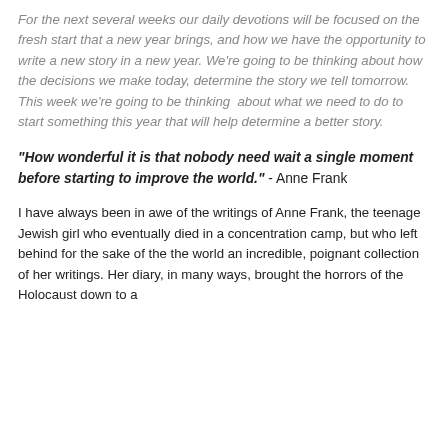For the next several weeks our daily devotions will be focused on the fresh start that a new year brings, and how we have the opportunity to write a new story in a new year.  We're going to be thinking about how the decisions we make today, determine the story we tell tomorrow.  This week we're going to be thinking  about what we need to do to start something this year that will help determine a better story.
"How wonderful it is that nobody need wait a single moment before starting to improve the world." - Anne Frank
I have always been in awe of the writings of Anne Frank, the teenage Jewish girl who eventually died in a concentration camp, but who left behind for the sake of the the world an incredible, poignant collection of her writings.  Her diary, in many ways, brought the horrors of the Holocaust down to a